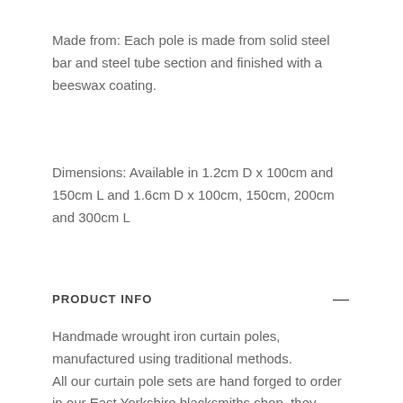Made from: Each pole is made from solid steel bar and steel tube section and finished with a beeswax coating.
Dimensions: Available in 1.2cm D x 100cm and 150cm L and 1.6cm D x 100cm, 150cm, 200cm and 300cm L
PRODUCT INFO
Handmade wrought iron curtain poles, manufactured using traditional methods.
All our curtain pole sets are hand forged to order in our East Yorkshire blacksmiths shop, they